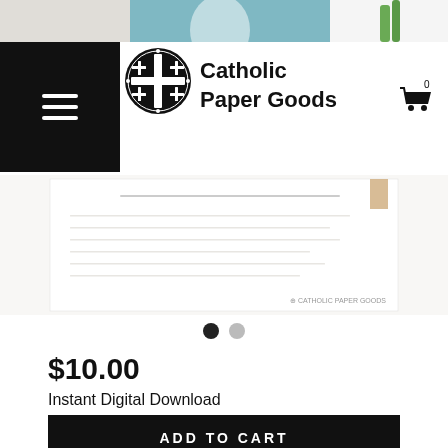[Figure (photo): Top portion of a product image showing a blue illustrated religious figure and some greenery on a white background]
[Figure (logo): Catholic Paper Goods circular logo with cross pattern in black and white, beside the brand name text 'Catholic Paper Goods']
[Figure (photo): Product image showing a printable document page with Catholic Paper Goods watermark]
$10.00
Instant Digital Download
ADD TO CART
★★★★★(1)
ASK A QUESTION